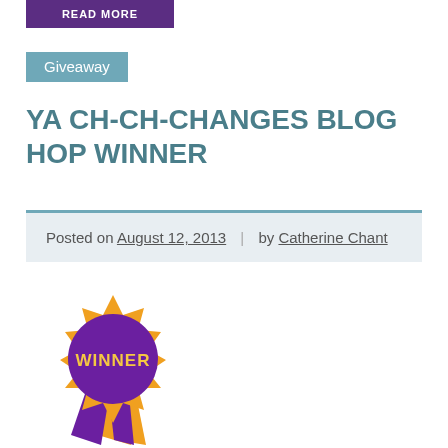READ MORE
Giveaway
YA CH-CH-CHANGES BLOG HOP WINNER
Posted on August 12, 2013 | by Catherine Chant
[Figure (illustration): A winner ribbon badge with a purple starburst circle, orange border, text WINNER in yellow, and purple and orange ribbon tails below.]